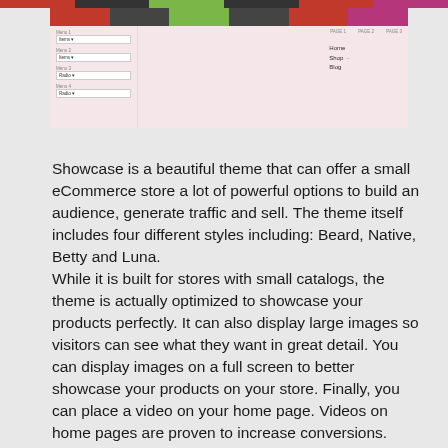[Figure (screenshot): Screenshot of an eCommerce theme interface showing a navigation menu with colored top bar, left sidebar with filter items (Menu 1-4 with dropdowns), and a right main area with dropdown navigation showing Home, Shop, Blog links]
Showcase is a beautiful theme that can offer a small eCommerce store a lot of powerful options to build an audience, generate traffic and sell. The theme itself includes four different styles including: Beard, Native, Betty and Luna.
While it is built for stores with small catalogs, the theme is actually optimized to showcase your products perfectly. It can also display large images so visitors can see what they want in great detail. You can display images on a full screen to better showcase your products on your store. Finally, you can place a video on your home page. Videos on home pages are proven to increase conversions.